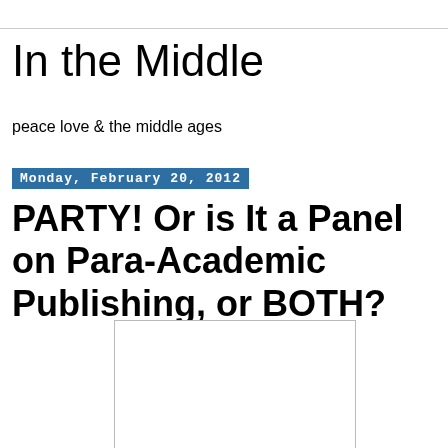In the Middle
peace love & the middle ages
Monday, February 20, 2012
PARTY! Or is It a Panel on Para-Academic Publishing, or BOTH?
[Figure (photo): White/blank image placeholder rectangle]